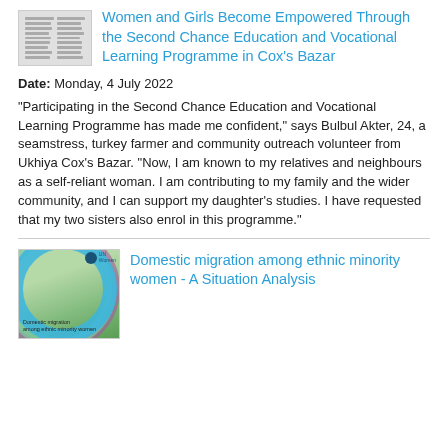[Figure (illustration): Small thumbnail image of a document with two columns of text lines]
Women and Girls Become Empowered Through the Second Chance Education and Vocational Learning Programme in Cox's Bazar
Date: Monday, 4 July 2022
"Participating in the Second Chance Education and Vocational Learning Programme has made me confident," says Bulbul Akter, 24, a seamstress, turkey farmer and community outreach volunteer from Ukhiya Cox's Bazar. "Now, I am known to my relatives and neighbours as a self-reliant woman. I am contributing to my family and the wider community, and I can support my daughter's studies. I have requested that my two sisters also enrol in this programme."
[Figure (illustration): Thumbnail cover image of a report showing a scenic green hillside landscape with concentric arc design elements in teal, green and purple, with text 'Domestic migration among ethnic minority women' and UN Women logo]
Domestic migration among ethnic minority women - A Situation Analysis